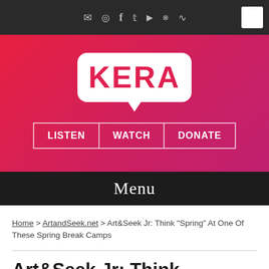[Figure (screenshot): KERA website header with social media icons navigation bar at top, KERA logo in speech bubble on red gradient background, LISTEN WATCH DONATE navigation buttons, and Menu bar]
Home > ArtandSeek.net > Art&Seek Jr: Think "Spring" At One Of These Spring Break Camps
Art&Seek Jr: Think "Spring" At One Of These Spring Break Camps